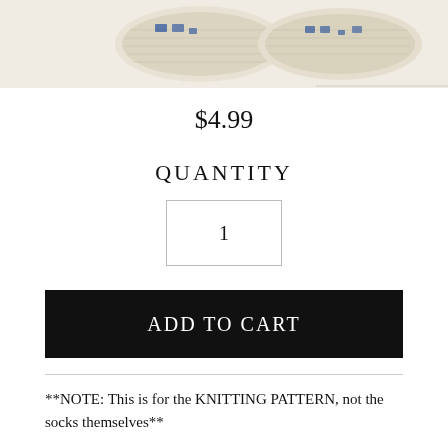[Figure (photo): Two knitted socks with USA flag pattern in cream/white and blue colors, photographed from above against white background.]
$4.99
QUANTITY
1
ADD TO CART
**NOTE: This is for the KNITTING PATTERN, not the socks themselves**
This listing is for the Flag Socks: USA PATTERN which is a toe-up charted sock pattern using 2 circular needles for